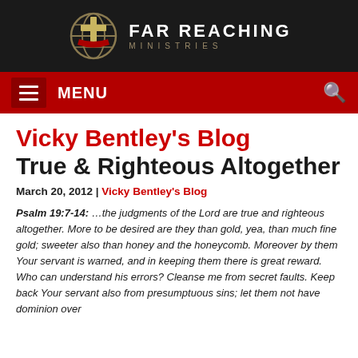[Figure (logo): Far Reaching Ministries logo with globe and cross icon and text 'FAR REACHING MINISTRIES']
MENU
Vicky Bentley's Blog
True & Righteous Altogether
March 20, 2012 | Vicky Bentley's Blog
Psalm 19:7-14: …the judgments of the Lord are true and righteous altogether. More to be desired are they than gold, yea, than much fine gold; sweeter also than honey and the honeycomb. Moreover by them Your servant is warned, and in keeping them there is great reward. Who can understand his errors? Cleanse me from secret faults. Keep back Your servant also from presumptuous sins; let them not have dominion over